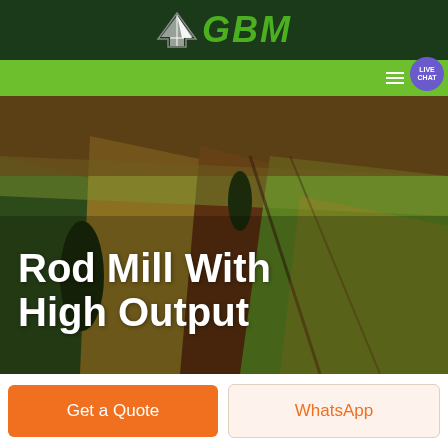GBM
[Figure (screenshot): GBM website hero section showing an aerial photo of green agricultural fields with text overlay 'Rod Mill With High Output']
Rod Mill With High Output
Get a Quote
WhatsApp